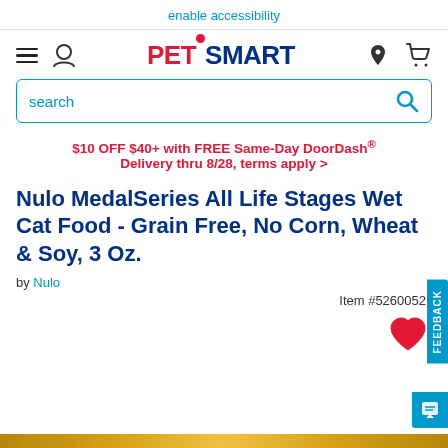enable accessibility
[Figure (logo): PetSmart logo with hamburger menu, user icon, location pin, and cart icons]
search
$10 OFF $40+ with FREE Same-Day DoorDash® Delivery thru 8/28, terms apply >
Nulo MedalSeries All Life Stages Wet Cat Food - Grain Free, No Corn, Wheat & Soy, 3 Oz.
by Nulo
Item #5260052